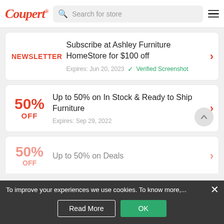[Figure (logo): Coupert logo in red cursive script with superscript trademark symbol]
Search for store
Newsletter — Subscribe at Ashley Furniture HomeStore for $100 off — Expires: Jun 20, 2023 — Verified Screenshot
50% OFF — Up to 50% on In Stock & Ready to Ship Furniture — Expires: Sep 29, 2022
50% OFF — Up to 50% on Deals (partial)
To improve your experiences we use cookies. To know more,...
Read More
OK